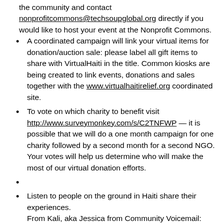the community and contact nonprofitcommons@techsoupglobal.org directly if you would like to host your event at the Nonprofit Commons.
A coordinated campaign will link your virtual items for donation/auction sale: please label all gift items to share with VirtualHaiti in the title. Common kiosks are being created to link events, donations and sales together with the www.virtualhaitirelief.org coordinated site.
To vote on which charity to benefit visit http://www.surveymonkey.com/s/C2TNFWP — it is possible that we will do a one month campaign for one charity followed by a second month for a second NGO. Your votes will help us determine who will make the most of our virtual donation efforts.
Listen to people on the ground in Haiti share their experiences.
From Kali, aka Jessica from Community Voicemail: